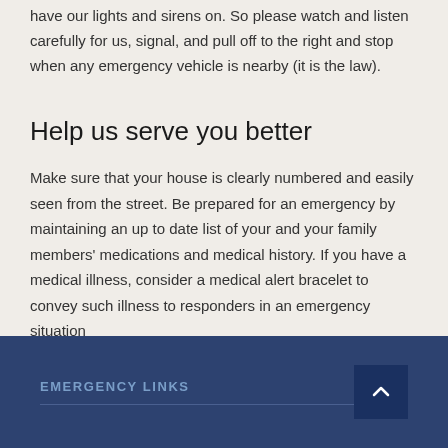have our lights and sirens on. So please watch and listen carefully for us, signal, and pull off to the right and stop when any emergency vehicle is nearby (it is the law).
Help us serve you better
Make sure that your house is clearly numbered and easily seen from the street. Be prepared for an emergency by maintaining an up to date list of your and your family members' medications and medical history. If you have a medical illness, consider a medical alert bracelet to convey such illness to responders in an emergency situation
EMERGENCY LINKS